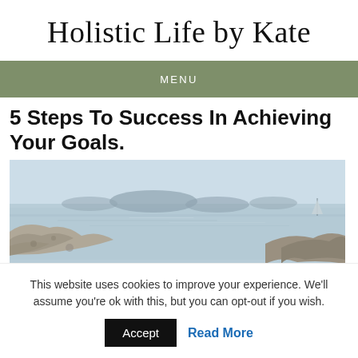Holistic Life by Kate
MENU
5 Steps To Success In Achieving Your Goals.
[Figure (photo): Coastal landscape with rocky shoreline in the foreground, calm blue-grey water, small islands in the background, and a sailboat on the right side under a pale sky.]
This website uses cookies to improve your experience. We'll assume you're ok with this, but you can opt-out if you wish.
Accept   Read More